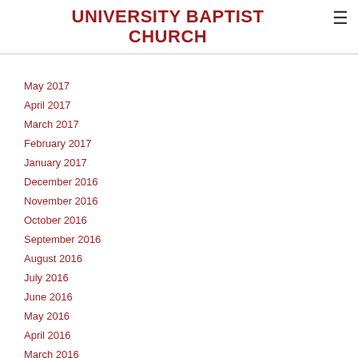UNIVERSITY BAPTIST CHURCH
May 2017
April 2017
March 2017
February 2017
January 2017
December 2016
November 2016
October 2016
September 2016
August 2016
July 2016
June 2016
May 2016
April 2016
March 2016
February 2016